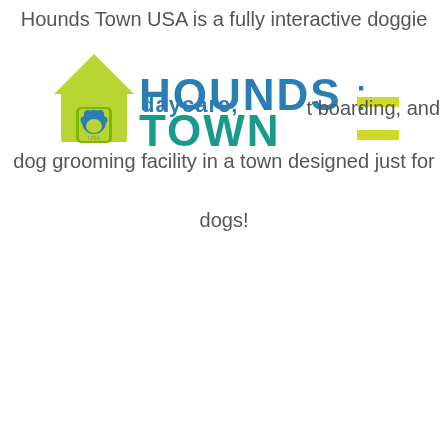Hounds Town USA is a fully interactive doggie daycare, overnight boarding, and dog grooming facility in a town designed just for dogs!
[Figure (logo): Hounds Town USA logo featuring a lime-green cartoon house with a blue paw print, alongside bold blue and teal text reading 'HOUNDS TOWN' with yellow-green highlight bars on the right]